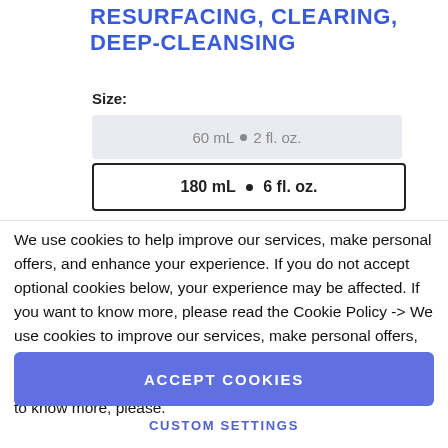RESURFACING, CLEARING, DEEP-CLEANSING
Size:
60 mL • 2 fl. oz.
180 mL • 6 fl. oz.
We use cookies to help improve our services, make personal offers, and enhance your experience. If you do not accept optional cookies below, your experience may be affected. If you want to know more, please read the Cookie Policy -> We use cookies to improve our services, make personal offers, and enhance your experience. If you do not accept optional cookies below, your experience may be affected. If you want to know more, please.
ACCEPT COOKIES
CUSTOM SETTINGS